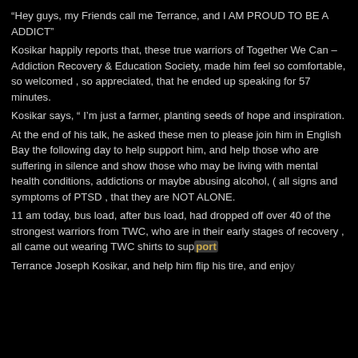“Hey guys, my Friends call me Terrance, and I AM PROUD TO BE A ADDICT”
Kosikar happily reports that, these true warriors of Together We Can – Addiction Recovery & Education Society, made him feel so comfortable, so welcomed , so appreciated, that he ended up speaking for 57 minutes.
Kosikar says, “ I’m just a farmer, planting seeds of hope and inspiration.
At the end of his talk, he asked these men to please join him in English Bay the following day to help support him, and help those who are suffering in silence and show those who may be living with mental health conditions, addictions or maybe abusing alcohol, ( all signs and symptoms of PTSD , that they are NOT ALONE.
11 am today, bus load, after bus load, had dropped off over 40 of the strongest warriors from TWC, who are in their early stages of recovery , all came out wearing TWC shirts to support Terrance Joseph Kosikar, and help him flip his tire, and enjoy